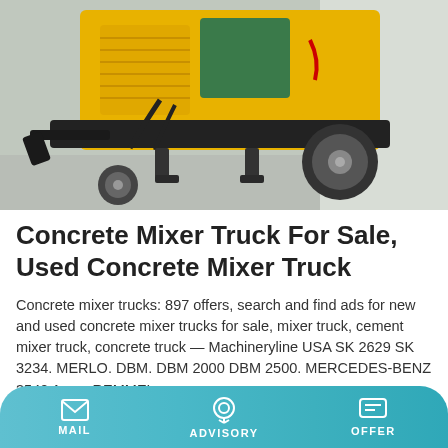[Figure (photo): Yellow concrete mixer / pump truck machine on a trailer with black frame, large tire, photographed in a warehouse or garage setting]
Concrete Mixer Truck For Sale, Used Concrete Mixer Truck
Concrete mixer trucks: 897 offers, search and find ads for new and used concrete mixer trucks for sale, mixer truck, cement mixer truck, concrete truck — Machineryline USA SK 2629 SK 3234. MERLO. DBM. DBM 2000 DBM 2500. MERCEDES-BENZ 3540 Arocs REMMEL . ....
Learn More
MAIL   ADVISORY   OFFER